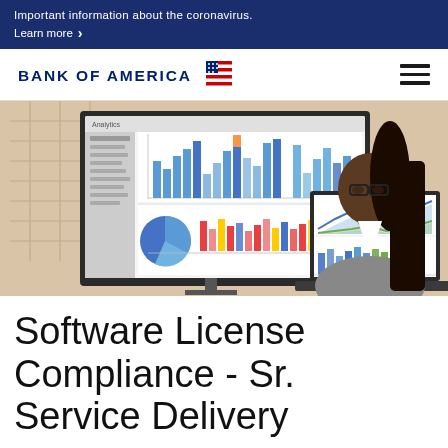Important information about the coronavirus. Learn more
[Figure (logo): Bank of America logo with flag/stripes icon and hamburger menu icon]
[Figure (photo): Professional woman with glasses and dark hair in a grey blazer looking at analytics dashboards on two computer monitors showing bar charts, line charts, and pie charts in blue, red, green, and yellow. Office setting with blinds in background.]
Software License Compliance - Sr. Service Delivery